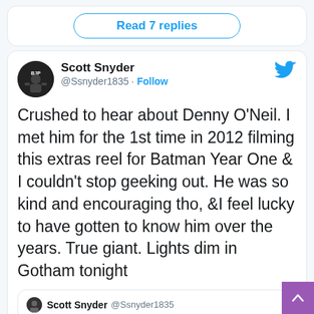Read 7 replies
Scott Snyder @Ssnyder1835 · Follow
Crushed to hear about Denny O'Neil. I met him for the 1st time in 2012 filming this extras reel for Batman Year One & I couldn't stop geeking out. He was so kind and encouraging tho, &I feel lucky to have gotten to know him over the years. True giant. Lights dim in Gotham tonight
Scott Snyder @Ssnyder1835
With the one and only Denny O'Neil #livinglegend
[Figure (photo): Photo of two people at what appears to be a convention or event venue]